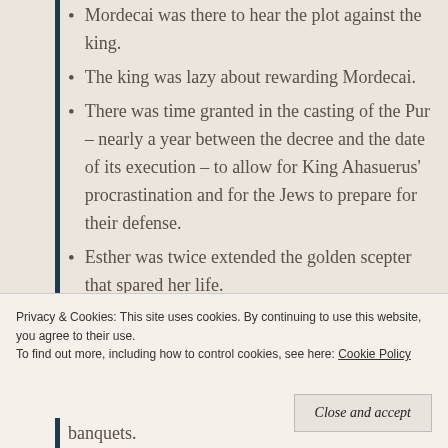Mordecai was there to hear the plot against the king.
The king was lazy about rewarding Mordecai.
There was time granted in the casting of the Pur – nearly a year between the decree and the date of its execution – to allow for King Ahasuerus' procrastination and for the Jews to prepare for their defense.
Esther was twice extended the golden scepter that spared her life.
banquets.
Privacy & Cookies: This site uses cookies. By continuing to use this website, you agree to their use.
To find out more, including how to control cookies, see here: Cookie Policy
Close and accept